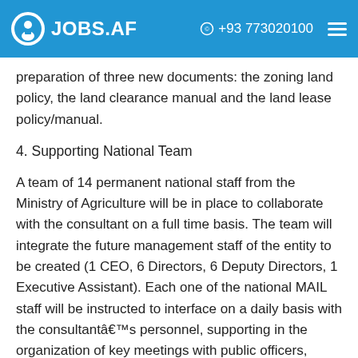JOBS.AF  +93 773020100
preparation of three new documents: the zoning land policy, the land clearance manual and the land lease policy/manual.
4. Supporting National Team
A team of 14 permanent national staff from the Ministry of Agriculture will be in place to collaborate with the consultant on a full time basis. The team will integrate the future management staff of the entity to be created (1 CEO, 6 Directors, 6 Deputy Directors, 1 Executive Assistant). Each one of the national MAIL staff will be instructed to interface on a daily basis with the consultantâ€™s personnel, supporting in the organization of key meetings with public officers, collection of national documents,